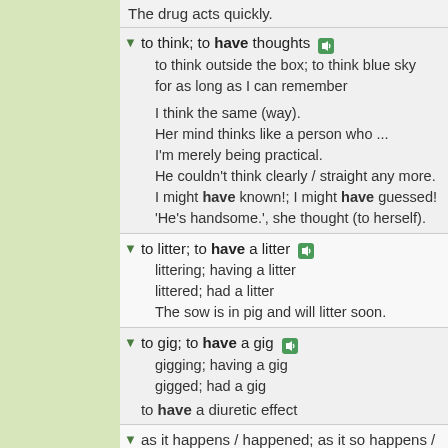The drug acts quickly.
to think; to have thoughts
to think outside the box; to think blue sky for as long as I can remember

I think the same (way).
Her mind thinks like a person who ...
I'm merely being practical.
He couldn't think clearly / straight any more.
I might have known!; I might have guessed!
'He's handsome.', she thought (to herself).
to litter; to have a litter
littering; having a litter
littered; had a litter
The sow is in pig and will litter soon.
to gig; to have a gig
gigging; having a gig
gigged; had a gig
to have a diuretic effect
as it happens / happened; as it so happens / happened (used as a parenthesis); it happens / happened that; it (just) so happens / happened that; as chance would have it.